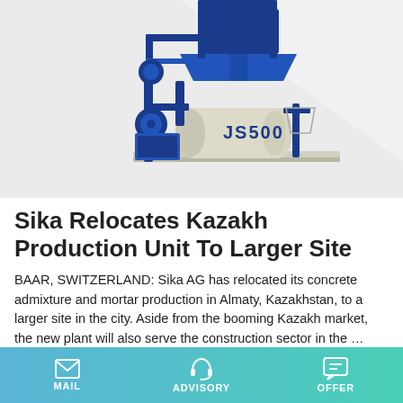[Figure (photo): Industrial concrete mixer machine JS500, beige/cream colored drum with blue JS500 lettering, mounted on blue steel frame structure with hopper above, shown on white/light grey background.]
Sika Relocates Kazakh Production Unit To Larger Site
BAAR, SWITZERLAND: Sika AG has relocated its concrete admixture and mortar production in Almaty, Kazakhstan, to a larger site in the city. Aside from the booming Kazakh market, the new plant will also serve the construction sector in the …
MAIL   ADVISORY   OFFER